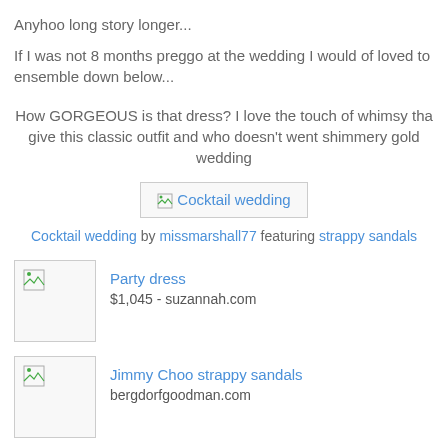Anyhoo long story longer...
If I was not 8 months preggo at the wedding I would of loved to ensemble down below...
How GORGEOUS is that dress? I love the touch of whimsy tha give this classic outfit and who doesn't went shimmery gold wedding
[Figure (other): Broken image placeholder labeled 'Cocktail wedding']
Cocktail wedding by missmarshall77 featuring strappy sandals
Party dress
$1,045 - suzannah.com
Jimmy Choo strappy sandals
bergdorfgoodman.com